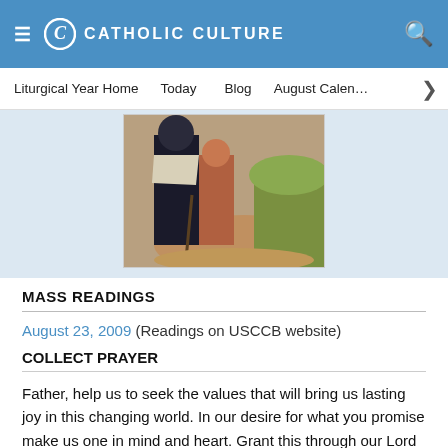CATHOLIC CULTURE
Liturgical Year Home   Today   Blog   August Calendar
[Figure (illustration): Partial view of a painting showing two figures in dark and light clothing on a path with greenery]
MASS READINGS
August 23, 2009 (Readings on USCCB website)
COLLECT PRAYER
Father, help us to seek the values that will bring us lasting joy in this changing world. In our desire for what you promise make us one in mind and heart. Grant this through our Lord Jesus Christ, your Son, who lives and reigns with you and the Holy Spirit, God, for ever and ever. Amen.